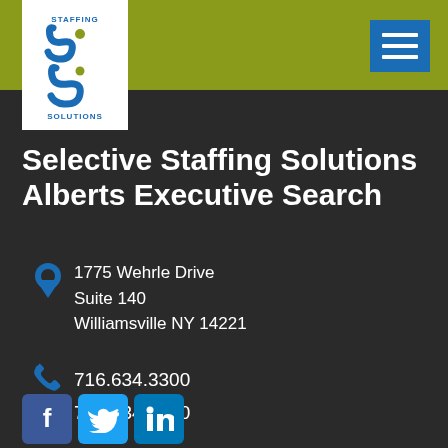[Figure (logo): Selective Staffing Solutions logo with white background, blue and olive green stylized S shapes, text STAFFING above and SOLUTIONS below]
Selective Staffing Solutions Alberts Executive Search
1775 Wehrle Drive
Suite 140
Williamsville NY 14221
716.634.3300
716.634.3900
[Figure (infographic): Social media icons: Facebook (blue), Twitter (light blue), LinkedIn (blue)]